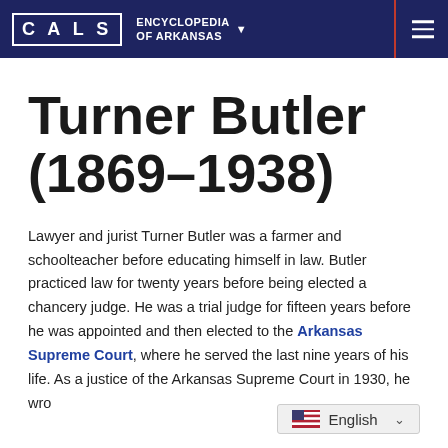CALS ENCYCLOPEDIA OF ARKANSAS
Turner Butler (1869–1938)
Lawyer and jurist Turner Butler was a farmer and schoolteacher before educating himself in law. Butler practiced law for twenty years before being elected a chancery judge. He was a trial judge for fifteen years before he was appointed and then elected to the Arkansas Supreme Court, where he served the last nine years of his life. As a justice of the Arkansas Supreme Court in 1930, he wro…